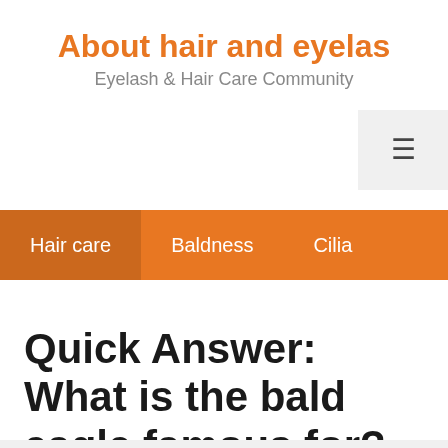About hair and eyelas
Eyelash & Hair Care Community
Hair care   Baldness   Cilia
Quick Answer: What is the bald eagle famous for?